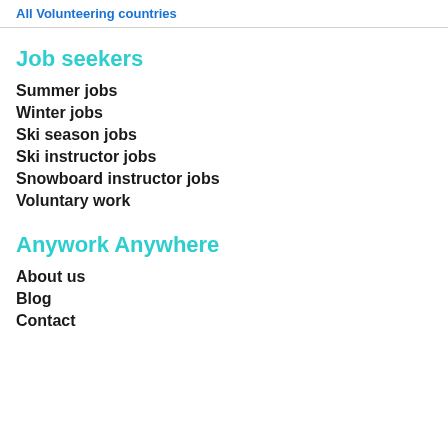All Volunteering countries
Job seekers
Summer jobs
Winter jobs
Ski season jobs
Ski instructor jobs
Snowboard instructor jobs
Voluntary work
Anywork Anywhere
About us
Blog
Contact